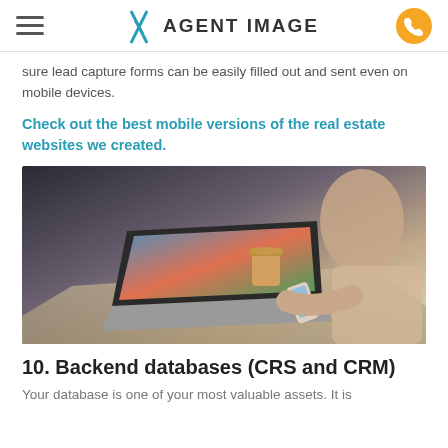AGENT IMAGE
sure lead capture forms can be easily filled out and sent even on mobile devices.
Check out the best mobile versions of the real estate websites we created.
[Figure (photo): Woman sitting at a desk viewing a real estate website on a laptop while holding a smartphone]
10. Backend databases (CRS and CRM)
Your database is one of your most valuable assets. It is